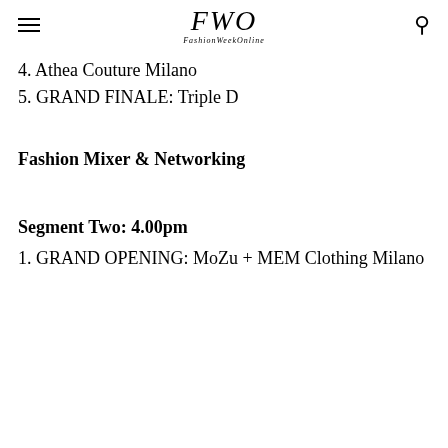FWO FashionWeekOnline
4. Athea Couture Milano
5. GRAND FINALE: Triple D
Fashion Mixer & Networking
Segment Two: 4.00pm
1. GRAND OPENING: MoZu + MEM Clothing Milano